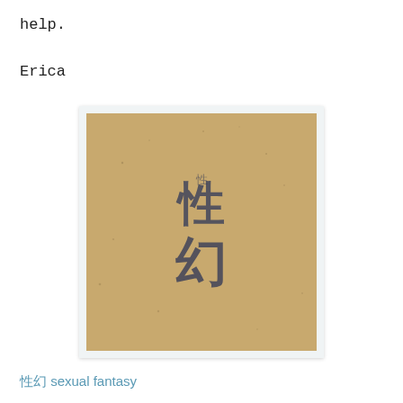help.
Erica
[Figure (photo): A photograph showing Chinese/Japanese kanji characters tattooed or stamped on a tan/beige skin or paper surface. The characters appear to read '性幻' meaning 'sexual fantasy'.]
性幻 sexual fantasy